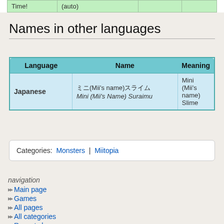| Time! | (auto) |  |  |
Names in other languages
| Language | Name | Meaning |
| --- | --- | --- |
| Japanese | ミニ(Mii's name)スライム
Mini (Mii's Name) Suraimu | Mini (Mii's name) Slime |
Categories: Monsters | Miitopia
navigation
Main page
Games
All pages
All categories
Recent changes
Random page
Random image
Sandbox
community
Discord Server